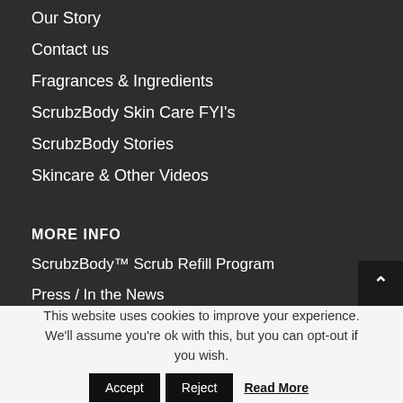Our Story
Contact us
Fragrances & Ingredients
ScrubzBody Skin Care FYI's
ScrubzBody Stories
Skincare & Other Videos
MORE INFO
ScrubzBody™ Scrub Refill Program
Press / In the News
This website uses cookies to improve your experience. We'll assume you're ok with this, but you can opt-out if you wish.
Accept  Reject  Read More